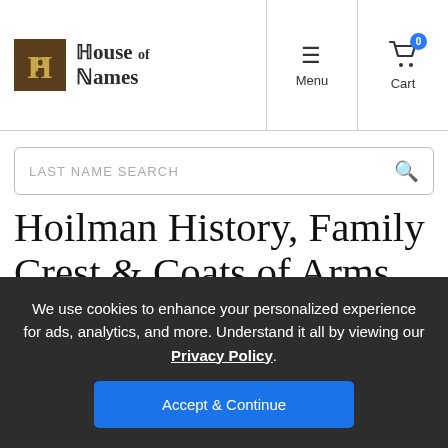House of Names — Menu — Cart (0)
LAST NAME SEARCH
Hoilman History, Family Crest & Coats of Arms
Origins Available: Germany
We use cookies to enhance your personalized experience for ads, analytics, and more. Understand it all by viewing our Privacy Policy. Accept & Continue